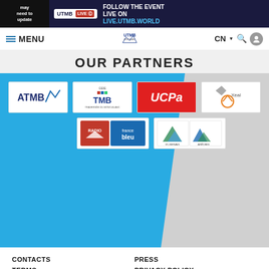may need to update | UTMB LIVE | FOLLOW THE EVENT LIVE ON LIVE.UTMB.WORLD
MENU | UTMB Mont-Blanc | CN
OUR PARTNERS
[Figure (logo): ATMB logo]
[Figure (logo): GEIE TMB logo]
[Figure (logo): UCPA logo (red background)]
[Figure (logo): Xeal / mountain brand logo]
[Figure (logo): Radio Mont Blanc / France Bleu logo]
[Figure (logo): Arêches-Beaufort / Saint-Gervais logo combo]
CONTACTS
PRESS
TERMS
PRIVACY POLICY
Search OK